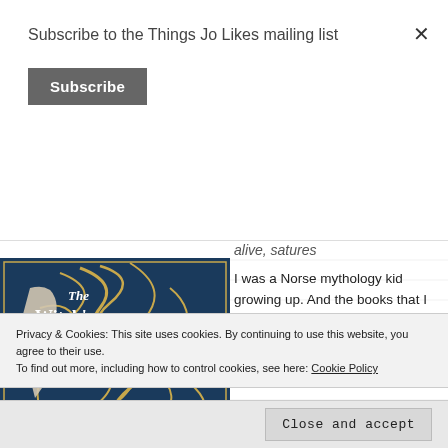Subscribe to the Things Jo Likes mailing list
Subscribe
[Figure (illustration): Book cover of 'The Witch's Heart' by Genevieve Gornichec. Dark blue background with golden Celtic knotwork designs featuring a woman's profile and serpentine patterns.]
alive, satures
I was a Norse mythology kid growing up. And the books that I had read painted Angrboda as the de facto villain with Loki being kind of a quaint
Privacy & Cookies: This site uses cookies. By continuing to use this website, you agree to their use.
To find out more, including how to control cookies, see here: Cookie Policy
Close and accept
finally, Ragnarok itself. Beautiful imagery, full of